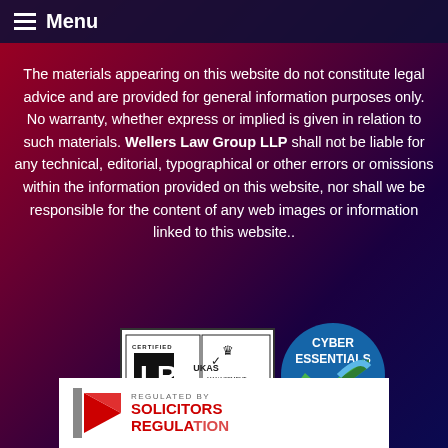Menu
The materials appearing on this website do not constitute legal advice and are provided for general information purposes only. No warranty, whether express or implied is given in relation to such materials. Wellers Law Group LLP shall not be liable for any technical, editorial, typographical or other errors or omissions within the information provided on this website, nor shall we be responsible for the content of any web images or information linked to this website..
[Figure (logo): ISO 9001 certified badge with Lloyd's Register mark and UKAS Management Systems 001 accreditation logo]
[Figure (logo): Cyber Essentials Certified badge in blue and green]
[Figure (logo): Regulated by Solicitors Regulation Authority logo with red arrow and gray bar]